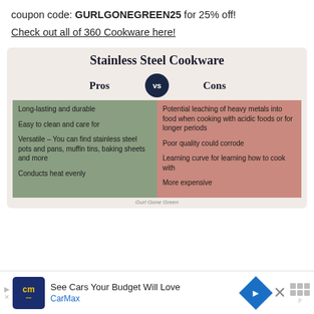coupon code: GURLGONEGREEN25 for 25% off!
Check out all of 360 Cookware here!
[Figure (infographic): Stainless Steel Cookware Pros vs Cons infographic. Pros: Long-lasting and durable; Easy to clean and care for; Versatile – You can find stainless steel pots and pans, muffin tins, baking sheets and more; Conducts heat evenly. Cons: Potential leaching of heavy metals into food when cooking with acidic foods or for longer periods; Poor quality could corrode; Learning curve for learning how to cook with; More expensive. Watermark: Gurl Gone Green]
See Cars Your Budget Will Love CarMax